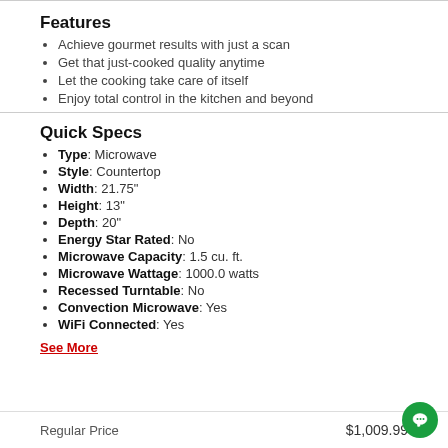Features
Achieve gourmet results with just a scan
Get that just-cooked quality anytime
Let the cooking take care of itself
Enjoy total control in the kitchen and beyond
Quick Specs
Type: Microwave
Style: Countertop
Width: 21.75"
Height: 13"
Depth: 20"
Energy Star Rated: No
Microwave Capacity: 1.5 cu. ft.
Microwave Wattage: 1000.0 watts
Recessed Turntable: No
Convection Microwave: Yes
WiFi Connected: Yes
See More
Regular Price  $1,009.99